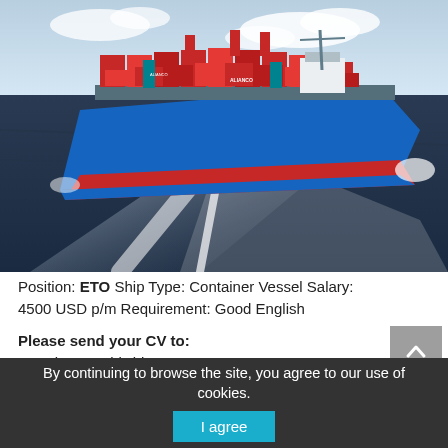[Figure (photo): Aerial view of a large container vessel (cargo ship) loaded with red and blue shipping containers, sailing at sea with a white wake behind it. The ship hull is painted blue and red.]
Position: ETO Ship Type: Container Vessel Salary: 4500 USD p/m Requirement: Good English
Please send your CV to:
Location: Worldwide
By continuing to browse the site, you agree to our use of cookies.